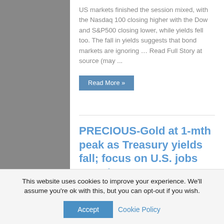US markets finished the session mixed, with the Nasdaq 100 closing higher with the Dow and S&P500 closing lower, while yields fell too. The fall in yields suggests that bond markets are ignoring … Read Full Story at source (may ...
Read More »
PRECIOUS-Gold at 1-mth peak as Treasury yields fall; focus on U.S. jobs report
15 days ago
This website uses cookies to improve your experience. We'll assume you're ok with this, but you can opt-out if you wish.
Accept
Cookie Policy